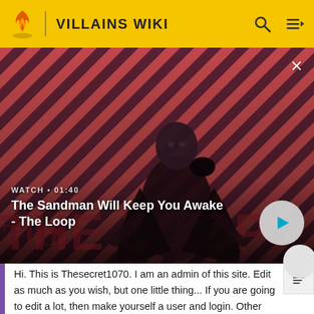VILLAINS WIKI
[Figure (screenshot): Video thumbnail for 'The Sandman Will Keep You Awake - The Loop' showing a dark-clad figure with a raven on shoulder against a red diagonal-striped background. Watch timer shows 01:40.]
WATCH • 01:40
The Sandman Will Keep You Awake - The Loop
Hi. This is Thesecret1070. I am an admin of this site. Edit as much as you wish, but one little thing... If you are going to edit a lot, then make yourself a user and login. Other than that, enjoy Villains Wiki!!!